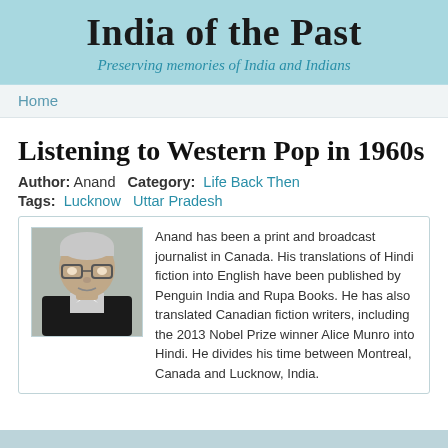India of the Past
Preserving memories of India and Indians
Home
Listening to Western Pop in 1960s
Author: Anand  Category: Life Back Then
Tags: Lucknow   Uttar Pradesh
Anand has been a print and broadcast journalist in Canada. His translations of Hindi fiction into English have been published by Penguin India and Rupa Books. He has also translated Canadian fiction writers, including the 2013 Nobel Prize winner Alice Munro into Hindi. He divides his time between Montreal, Canada and Lucknow, India.